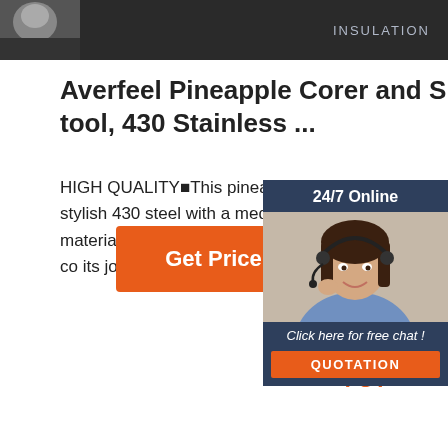[Figure (screenshot): Dark banner at top with 'INSULATION' text and partial thumbnail image on left]
Averfeel Pineapple Corer and Slicer tool, 430 Stainless ...
HIGH QUALITY■This pineapple corer from high quality, durable, stylish 430 steel with a medium-sized serrated bla BPA-Free materials. PERFECT PINE■ CORER & SLICER: This pineapple co its job perfectly. it Can peel, slice and pineapple effortlessly.
[Figure (photo): Chat support widget with woman wearing headset, '24/7 Online' header, 'Click here for free chat!' text and orange QUOTATION button]
[Figure (other): Orange 'Get Price' button]
[Figure (other): Orange TOP icon with dots above text]